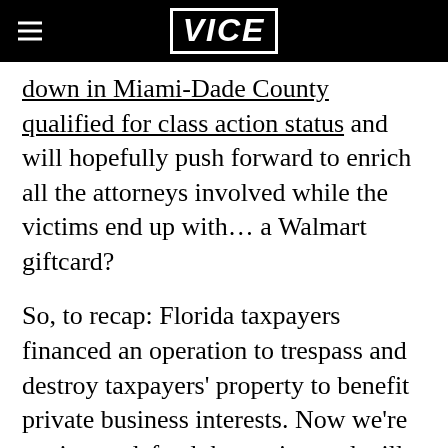VICE
down in Miami-Dade County qualified for class action status and will hopefully push forward to enrich all the attorneys involved while the victims end up with… a Walmart giftcard?
So, to recap: Florida taxpayers financed an operation to trespass and destroy taxpayers' property to benefit private business interests. Now we're paying to defend that action and will, eventually, be forced to pay restitution for it. All while the citrus industry shares its wealth with the politicians who helped initiate the policy in the first place and lawyers (who will no doubt contribute to those same candidates).